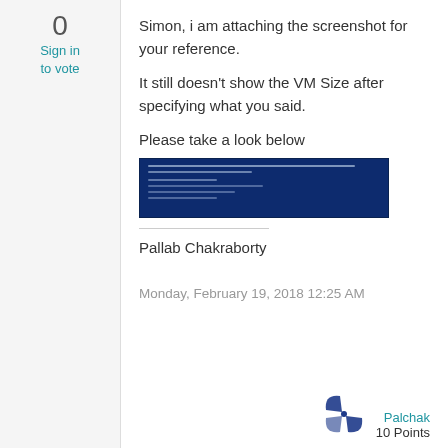0
Sign in to vote
Simon, i am attaching the screenshot for your reference.
It still doesn't show the VM Size after specifying what you said.
Please take a look below
[Figure (screenshot): Screenshot of a command-line interface with dark blue background showing VM-related output text]
Pallab Chakraborty
Monday, February 19, 2018 12:25 AM
[Figure (logo): Pinwheel/windmill logo in blue and white]
Palchak
10 Points